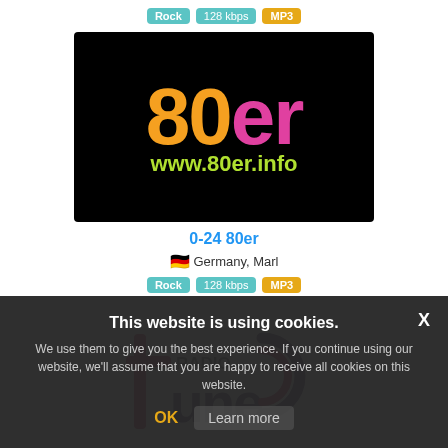[Figure (logo): Tags: Rock, 128 kbps, MP3 above the 80er radio logo]
Rock  128 kbps  MP3
[Figure (logo): 0-24 80er radio logo: black background, orange '80' text and pink 'er' text, green 'www.80er.info' URL]
0-24 80er
Germany, Marl
Rock  128 kbps  MP3
[Figure (logo): Radio Tune logo: stylized letter t with RADIO TUNE text and circular swirl]
This website is using cookies.
We use them to give you the best experience. If you continue using our website, we'll assume that you are happy to receive all cookies on this website.
OK  Learn more